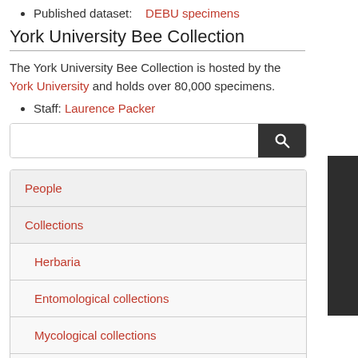Published dataset: DEBU specimens
York University Bee Collection
The York University Bee Collection is hosted by the York University and holds over 80,000 specimens.
Staff: Laurence Packer
[Figure (screenshot): Search bar with input field and dark search button]
| People |
| Collections |
| Herbaria |
| Entomological collections |
| Mycological collections |
| Botanical gardens |